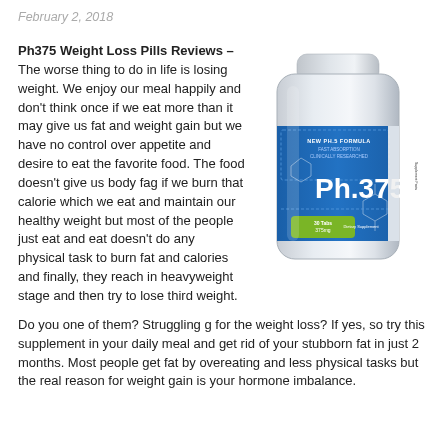February 2, 2018
Ph375 Weight Loss Pills Reviews – The worse thing to do in life is losing weight. We enjoy our meal happily and don't think once if we eat more than it may give us fat and weight gain but we have no control over appetite and desire to eat the favorite food. The food doesn't give us body fag if we burn that calorie which we eat and maintain our healthy weight but most of the people just eat and eat doesn't do any physical task to burn fat and calories and finally, they reach in heavyweight stage and then try to lose third weight.

Do you one of them? Struggling g for the weight loss? If yes, so try this supplement in your daily meal and get rid of your stubborn fat in just 2 months. Most people get fat by overeating and less physical tasks but the real reason for weight gain is your hormone imbalance.
[Figure (photo): Ph.375 dietary supplement bottle with blue label showing Ph.375 brand name, chemical structure graphics, and green label section with tablet count information.]